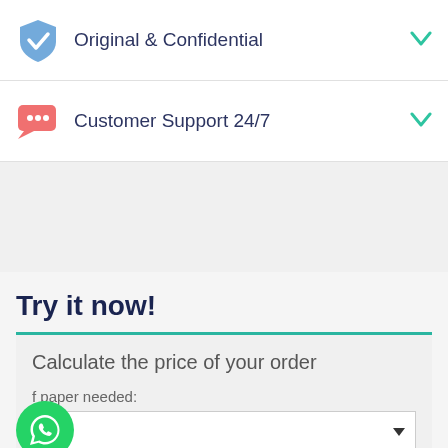Original & Confidential
Customer Support 24/7
Try it now!
Calculate the price of your order
f paper needed: